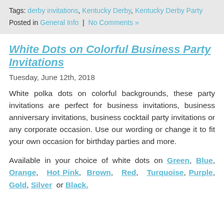Tags: derby invitations, Kentucky Derby, Kentucky Derby Party
Posted in General Info | No Comments »
White Dots on Colorful Business Party Invitations
Tuesday, June 12th, 2018
White polka dots on colorful backgrounds, these party invitations are perfect for business invitations, business anniversary invitations, business cocktail party invitations or any corporate occasion. Use our wording or change it to fit your own occasion for birthday parties and more.
Available in your choice of white dots on Green, Blue, Orange, Hot Pink, Brown, Red, Turquoise, Purple, Gold, Silver or Black.